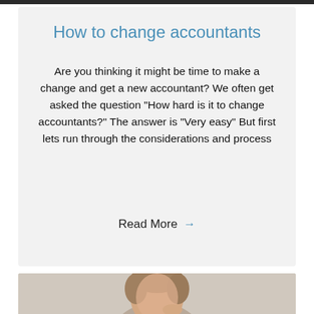How to change accountants
Are you thinking it might be time to make a change and get a new accountant? We often get asked the question "How hard is it to change accountants?" The answer is "Very easy" But first lets run through the considerations and process
Read More →
[Figure (photo): Photo of a person (partially visible), likely a professional accountant or advisor, shown from the shoulders up against a light background.]